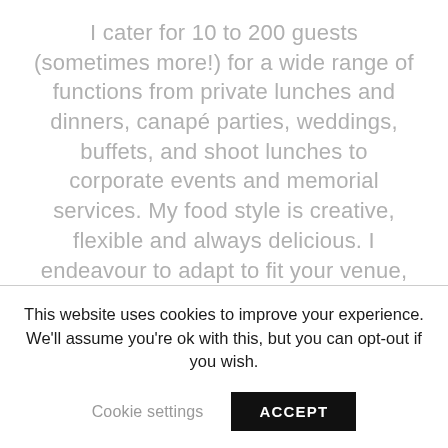I cater for 10 to 200 guests (sometimes more!) for a wide range of functions from private lunches and dinners, canapé parties, weddings, buffets, and shoot lunches to corporate events and memorial services. My food style is creative, flexible and always delicious. I endeavour to adapt to fit your venue, home, theme, personal food choices and special dietary requirements. My kitchen is situated just south of Canterbury in the wonderful Kent countryside and this is where the magic happens!
This website uses cookies to improve your experience. We'll assume you're ok with this, but you can opt-out if you wish.
Cookie settings
ACCEPT